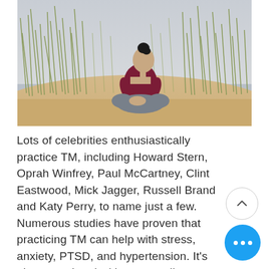[Figure (photo): A woman in a maroon long-sleeve crop top and grey pants sits in a meditative lotus pose on sandy beach dunes surrounded by tall grass under an overcast sky.]
Lots of celebrities enthusiastically practice TM, including Howard Stern, Oprah Winfrey, Paul McCartney, Clint Eastwood, Mick Jagger, Russell Brand and Katy Perry, to name just a few. Numerous studies have proven that practicing TM can help with stress, anxiety, PTSD, and hypertension. It's also associated with an overall increase in life satisfaction.